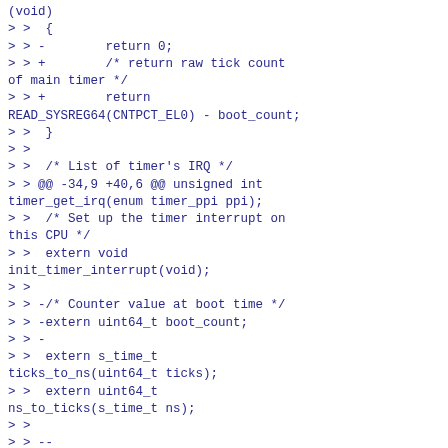(void)
> >  {
> > -        return 0;
> > +        /* return raw tick count of main timer */
> > +        return READ_SYSREG64(CNTPCT_EL0) - boot_count;
> >  }
> >
> >  /* List of timer's IRQ */
> > @@ -34,9 +40,6 @@ unsigned int timer_get_irq(enum timer_ppi ppi);
> >  /* Set up the timer interrupt on this CPU */
> >  extern void init_timer_interrupt(void);
> >
> > -/* Counter value at boot time */
> > -extern uint64_t boot_count;
> > -
> >  extern s_time_t ticks_to_ns(uint64_t ticks);
> >  extern uint64_t ns_to_ticks(s_time_t ns);
> >
> > --
> > 2.7.2
> >
> >
> >